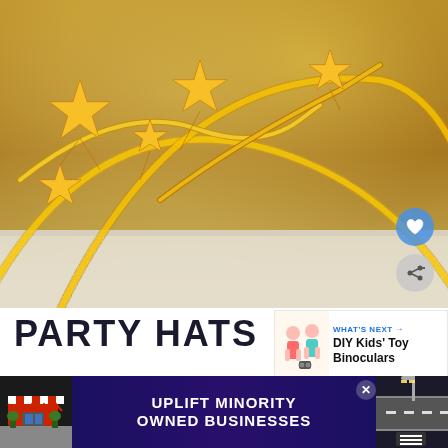[Figure (photo): Close-up photo of gold glitter star headbands/tiaras with star decorations on a white/marble surface]
PARTY HATS
[Figure (infographic): WHAT'S NEXT banner with DIY Kids' Toy Binoculars label and image of children]
Make your own tiaras and decorate them out with...decorate
[Figure (infographic): Ad banner: UPLIFT MINORITY OWNED BUSINESSES with close button]